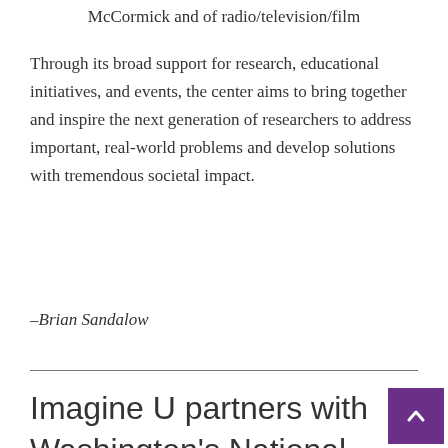McCormick and of radio/television/film
Through its broad support for research, educational initiatives, and events, the center aims to bring together and inspire the next generation of researchers to address important, real-world problems and develop solutions with tremendous societal impact.
–Brian Sandalow
Imagine U partners with Washington's National Theatre